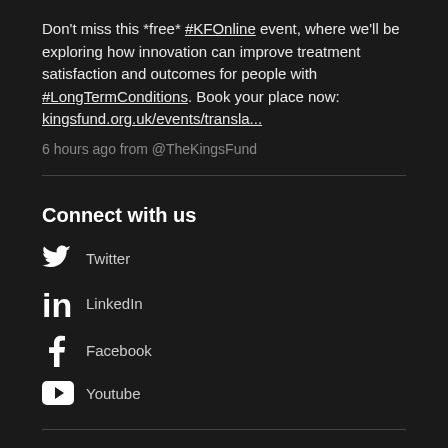Don't miss this *free* #KFOnline event, where we'll be exploring how innovation can improve treatment satisfaction and outcomes for people with #LongTermConditions. Book your place now: kingsfund.org.uk/events/transla...
6 hours ago from @TheKingsFund
Connect with us
Twitter
LinkedIn
Facebook
Youtube
Quick links